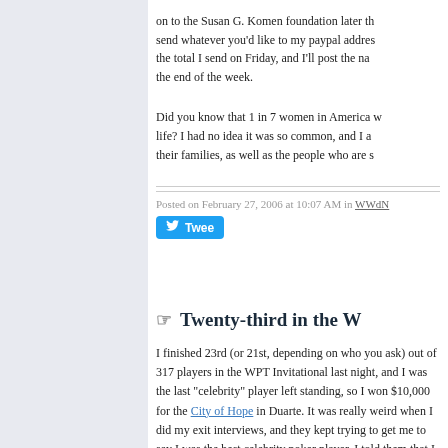on to the Susan G. Komen foundation later this week. send whatever you'd like to my paypal address the total I send on Friday, and I'll post the names the end of the week.
Did you know that 1 in 7 women in America will get breast cancer in their life? I had no idea it was so common, and I am so moved by their families, as well as the people who are so...
Posted on February 27, 2006 at 10:07 AM in WWdN
[Figure (other): Twitter Tweet button in blue]
Twenty-third in the W
I finished 23rd (or 21st, depending on who you ask) out of 317 players in the WPT Invitational last night, and I was the last "celebrity" player left standing, so I won $10,000 for the City of Hope in Duarte. It was really weird when I did my exit interviews, and they kept trying to get me to say I was the best celebrity poker player. I told them that I was probably the only player in the entire field who hosts two poker tournaments a week at PokerStars, and I owed a lot of my success and confidence to honing my skills online, and